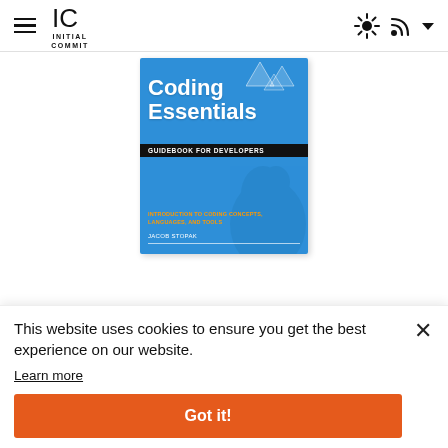Initial Commit - website header with hamburger menu, IC logo, sun/RSS icons
[Figure (illustration): Book cover for 'Coding Essentials Guidebook for Developers' by Jacob Stopak, blue background with parrot silhouette and geometric icons]
This website uses cookies to ensure you get the best experience on our website.
Learn more
Got it!